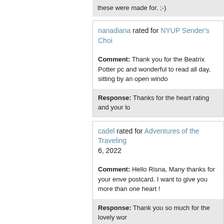these were made for. ;-)
nanadiana rated for NYUP Sender's Choi…
Comment: Thank you for the Beatrix Potter pc and wonderful to read all day, sitting by an open windo…
Response: Thanks for the heart rating and your lo…
cadel rated for Adventures of the Traveling… 6, 2022
Comment: Hello Risna, Many thanks for your enve… postcard. I want to give you more than one heart !
Response: Thank you so much for the lovely wor…
Tuutis rated for Christmas postcard swap …
Comment: Thank you from this cozy christmas ca… the decorations <3